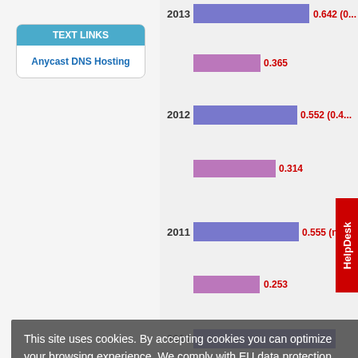[Figure (bar-chart): Impact Factor / CiteScore chart]
Source: InCites Journal Citations R...
CITESCORE BY SCOPUS
Calculating the CiteScore® is based on the number of conference papers, book chapters, and data pape...
TEXT LINKS
Anycast DNS Hosting
This site uses cookies. By accepting cookies you can optimize your browsing experience. We comply with EU data protection rules (GDPR). Learn more
Got it!